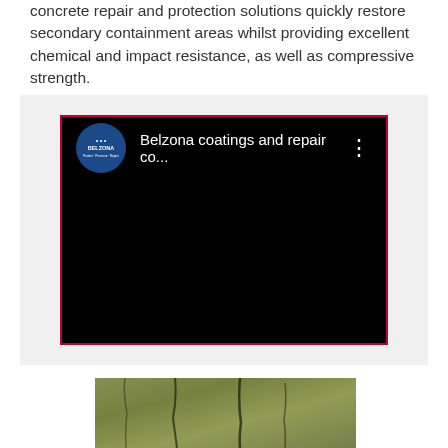concrete repair and protection solutions quickly restore secondary containment areas whilst providing excellent chemical and impact resistance, as well as compressive strength.
[Figure (screenshot): Embedded video player showing Belzona YouTube channel video titled 'Belzona coatings and repair co...' with Belzona logo on black background with red border]
[Figure (photo): Photo of damaged concrete surface showing cracks and deterioration, with greenish-brown discoloration]